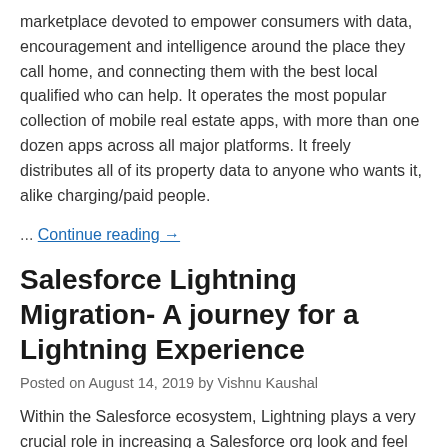marketplace devoted to empower consumers with data, encouragement and intelligence around the place they call home, and connecting them with the best local qualified who can help. It operates the most popular collection of mobile real estate apps, with more than one dozen apps across all major platforms. It freely distributes all of its property data to anyone who wants it, alike charging/paid people.
… Continue reading →
Salesforce Lightning Migration- A journey for a Lightning Experience
Posted on August 14, 2019 by Vishnu Kaushal
Within the Salesforce ecosystem, Lightning plays a very crucial role in increasing a Salesforce org look and feel with a contemporary UI. Salesforce